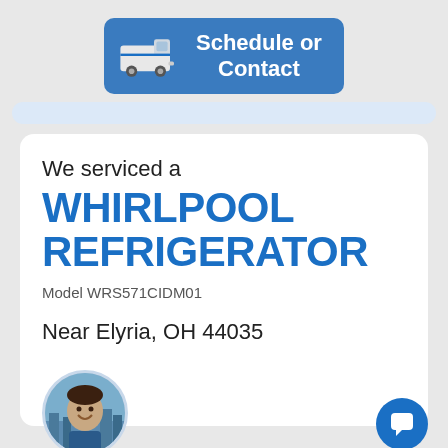[Figure (screenshot): Blue rounded rectangle button with a white delivery van icon on the left and white bold text reading 'Schedule or Contact' on the right]
We serviced a
WHIRLPOOL REFRIGERATOR
Model WRS571CIDM01
Near Elyria, OH 44035
[Figure (photo): Circular profile photo of a smiling man with city skyline background]